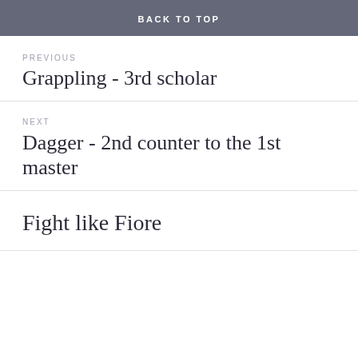BACK TO TOP
PREVIOUS
Grappling - 3rd scholar
NEXT
Dagger - 2nd counter to the 1st master
Fight like Fiore